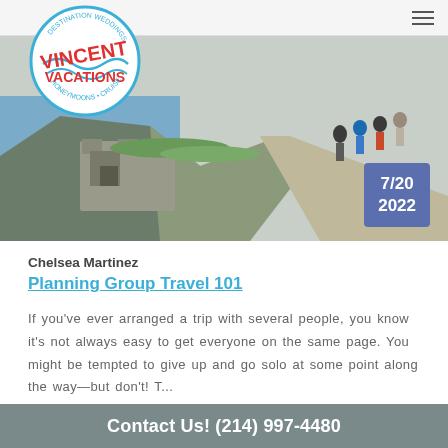Vincent Vacations — navigation header
[Figure (photo): Scenic photo of stone fortress on a coastal cliff with a group of hikers walking along a path; blue date badge overlay showing 7/20 2022]
Chelsea Martinez
Planning Group Travel 101
If you've ever arranged a trip with several people, you know it's not always easy to get everyone on the same page. You might be tempted to give up and go solo at some point along the way—but don't! T...
Read more >
Contact Us! (214) 997-4480